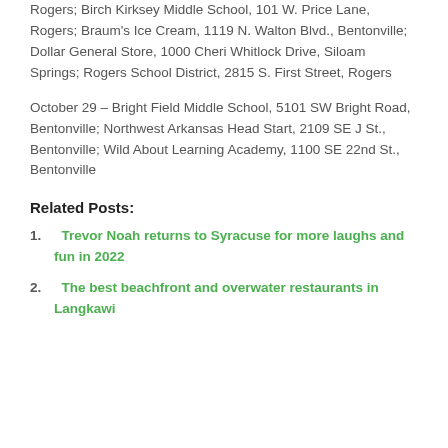Rogers; Birch Kirksey Middle School, 101 W. Price Lane, Rogers; Braum's Ice Cream, 1119 N. Walton Blvd., Bentonville; Dollar General Store, 1000 Cheri Whitlock Drive, Siloam Springs; Rogers School District, 2815 S. First Street, Rogers
October 29 – Bright Field Middle School, 5101 SW Bright Road, Bentonville; Northwest Arkansas Head Start, 2109 SE J St., Bentonville; Wild About Learning Academy, 1100 SE 22nd St., Bentonville
Related Posts:
Trevor Noah returns to Syracuse for more laughs and fun in 2022
The best beachfront and overwater restaurants in Langkawi